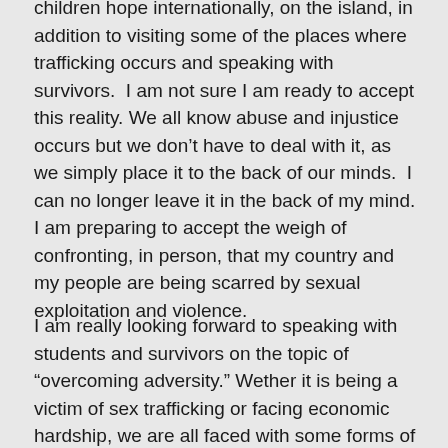children hope internationally, on the island, in addition to visiting some of the places where trafficking occurs and speaking with survivors.  I am not sure I am ready to accept this reality. We all know abuse and injustice occurs but we don't have to deal with it, as we simply place it to the back of our minds.  I can no longer leave it in the back of my mind. I am preparing to accept the weigh of confronting, in person, that my country and my people are being scarred by sexual exploitation and violence.
I am really looking forward to speaking with students and survivors on the topic of “overcoming adversity.” Wether it is being a victim of sex trafficking or facing economic hardship, we are all faced with some forms of adversity.  Many times, young people simply need a little encouragement